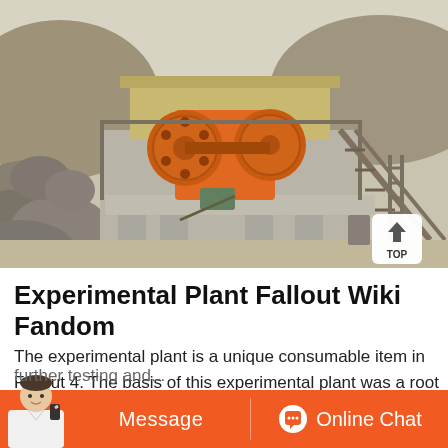[Figure (photo): Photograph of an industrial crushing/mining plant facility with large orange machinery (jaw crusher with flywheel) mounted on a concrete elevated platform, surrounded by rocky terrain and hillside in the background. Metal conveyor structures visible to the right.]
Experimental Plant Fallout Wiki Fandom
The experimental plant is a unique consumable item in Fallout 4. The basis of this experimental plant was a root found by a Brotherhood fi... further testing and...